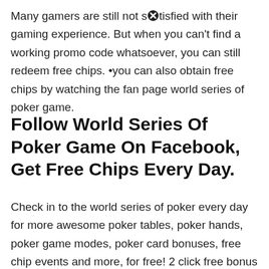Many gamers are still not satisfied with their gaming experience. But when you can't find a working promo code whatsoever, you can still redeem free chips. •you can also obtain free chips by watching the fan page world series of poker game.
Follow World Series Of Poker Game On Facebook, Get Free Chips Every Day.
Check in to the world series of poker every day for more awesome poker tables, poker hands, poker game modes, poker card bonuses, free chip events and more, for free! 2 click free bonus link. Compete to win your